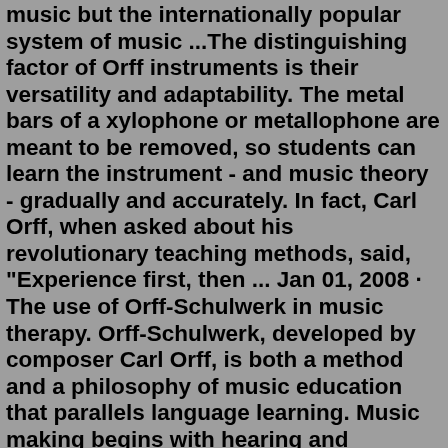music but the internationally popular system of music ...The distinguishing factor of Orff instruments is their versatility and adaptability. The metal bars of a xylophone or metallophone are meant to be removed, so students can learn the instrument - and music theory - gradually and accurately. In fact, Carl Orff, when asked about his revolutionary teaching methods, said, "Experience first, then ... Jan 01, 2008 · The use of Orff-Schulwerk in music therapy. Orff-Schulwerk, developed by composer Carl Orff, is both a method and a philosophy of music education that parallels language learning. Music making begins with hearing and imitating, followed by making and improvising music and, over time, reading and writing music. The University of St. Thomas Orff Schulwerk certificate program has been a model of innovation for Orff certification courses offered in the United States. The St. Thomas Orff curriculum features education in subjects required by the American Orff Schulwerk Association: technique and improvisation, analysis and arranging, pedagogy